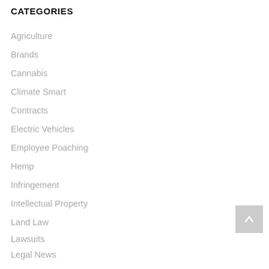CATEGORIES
Agriculture
Brands
Cannabis
Climate Smart
Contracts
Electric Vehicles
Employee Poaching
Hemp
Infringement
Intellectual Property
Land Law
Lawsuits
Legal News
Marijuana
Organic